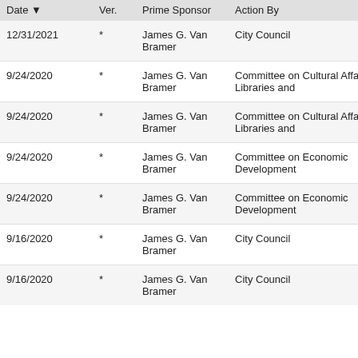| Date | Ver. | Prime Sponsor | Action By |
| --- | --- | --- | --- |
| 12/31/2021 | * | James G. Van Bramer | City Council |
| 9/24/2020 | * | James G. Van Bramer | Committee on Cultural Affairs, Libraries and |
| 9/24/2020 | * | James G. Van Bramer | Committee on Cultural Affairs, Libraries and |
| 9/24/2020 | * | James G. Van Bramer | Committee on Economic Development |
| 9/24/2020 | * | James G. Van Bramer | Committee on Economic Development |
| 9/16/2020 | * | James G. Van Bramer | City Council |
| 9/16/2020 | * | James G. Van Bramer | City Council |